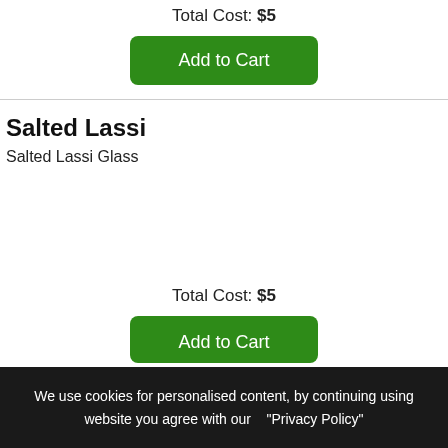Total Cost: $5
Add to Cart
Salted Lassi
Salted Lassi Glass
Total Cost: $5
Add to Cart
We use cookies for personalised content, by continuing using website you agree with our   "Privacy Policy"